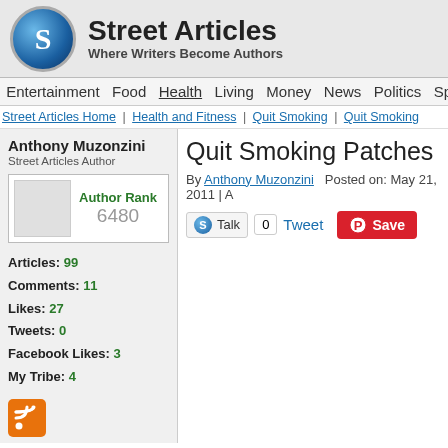Street Articles – Where Writers Become Authors
Entertainment  Food  Health  Living  Money  News  Politics  Spo
Street Articles Home | Health and Fitness | Quit Smoking | Quit Smoking
Anthony Muzonzini
Street Articles Author
Author Rank 6480
Articles: 99
Comments: 11
Likes: 27
Tweets: 0
Facebook Likes: 3
My Tribe: 4
Quit Smoking Patches
By Anthony Muzonzini  Posted on: May 21, 2011 | A
Talk 0  Tweet  Save